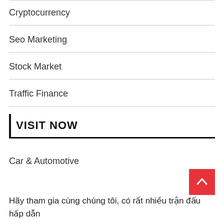Cryptocurrency
Seo Marketing
Stock Market
Traffic Finance
| VISIT NOW
Car & Automotive
Hãy tham gia cùng chúng tôi, có rất nhiều trận đấu hấp dẫn